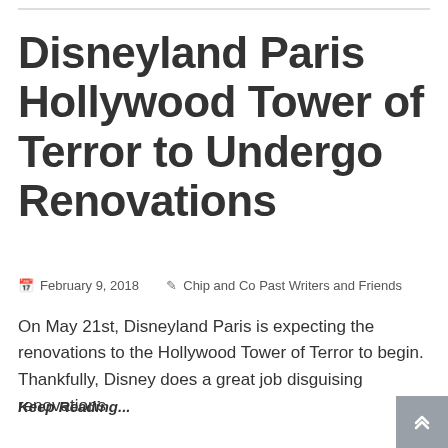Disneyland Paris Hollywood Tower of Terror to Undergo Renovations
February 9, 2018   Chip and Co Past Writers and Friends
On May 21st, Disneyland Paris is expecting the renovations to the Hollywood Tower of Terror to begin. Thankfully, Disney does a great job disguising renovations
Keep Reading...